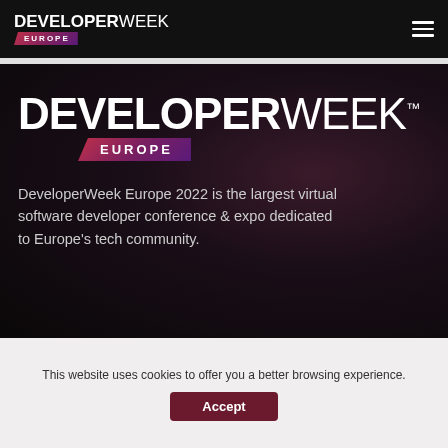DEVELOPERWEEK EUROPE
[Figure (logo): DeveloperWeek Europe large logo with gradient bar for EUROPE text]
DeveloperWeek Europe 2022 is the largest virtual software developer conference & expo dedicated to Europe's tech community.
This website uses cookies to offer you a better browsing experience.
Accept